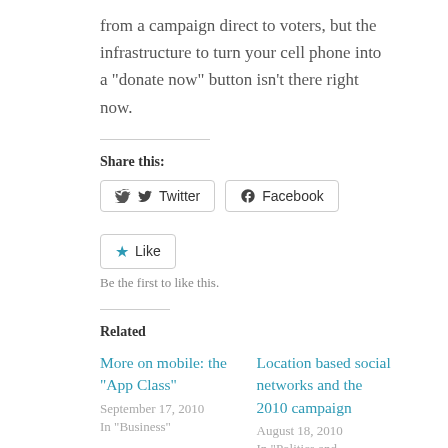from a campaign direct to voters, but the infrastructure to turn your cell phone into a "donate now" button isn't there right now.
Share this:
Twitter | Facebook (share buttons)
Like
Be the first to like this.
Related
More on mobile: the "App Class"
September 17, 2010
In "Business"
Location based social networks and the 2010 campaign
August 18, 2010
In "Politics and